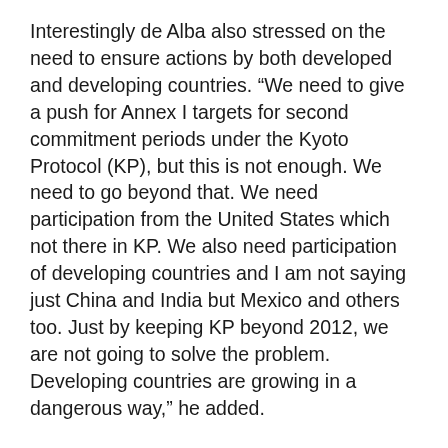Interestingly de Alba also stressed on the need to ensure actions by both developed and developing countries. “We need to give a push for Annex I targets for second commitment periods under the Kyoto Protocol (KP), but this is not enough. We need to go beyond that. We need participation from the United States which not there in KP. We also need participation of developing countries and I am not saying just China and India but Mexico and others too. Just by keeping KP beyond 2012, we are not going to solve the problem. Developing countries are growing in a dangerous way,” he added.
Mexico is also seeking to avoid a Copenhagen like situation when heads of state gathered on the last day leading to pandemonium and ending with a weak Copenhagen Accord. Mexico is proposing a three-tiered process. First in October they plan to have a ministerial level meeting of the major economies. Then possibly a head of the states meeting before the Cancun meeting to give the political